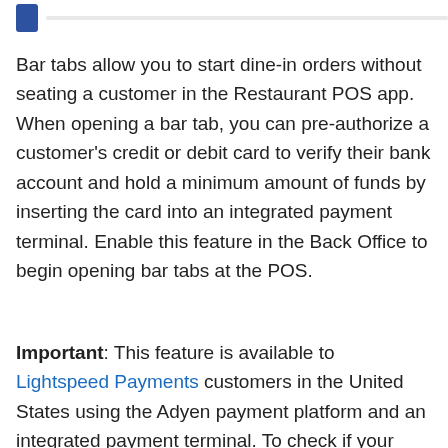[Figure (logo): Blue square icon in top left with a light gray horizontal bar to the right]
Bar tabs allow you to start dine-in orders without seating a customer in the Restaurant POS app. When opening a bar tab, you can pre-authorize a customer's credit or debit card to verify their bank account and hold a minimum amount of funds by inserting the card into an integrated payment terminal. Enable this feature in the Back Office to begin opening bar tabs at the POS.
Important: This feature is available to Lightspeed Payments customers in the United States using the Adyen payment platform and an integrated payment terminal. To check if your account is supported, follow steps 1–3 in